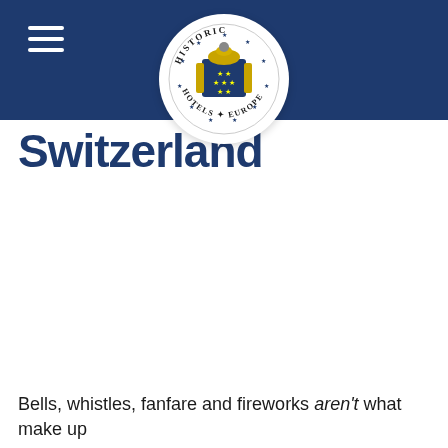[Figure (logo): Historic Hotels of Europe circular logo with crest and stars]
Switzerland
Bells, whistles, fanfare and fireworks aren't what make up